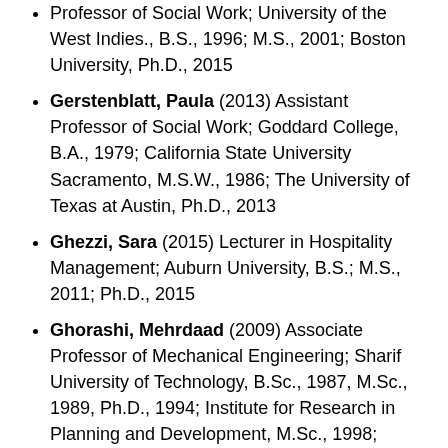Professor of Social Work; University of the West Indies., B.S., 1996; M.S., 2001; Boston University, Ph.D., 2015
Gerstenblatt, Paula (2013) Assistant Professor of Social Work; Goddard College, B.A., 1979; California State University Sacramento, M.S.W., 1986; The University of Texas at Austin, Ph.D., 2013
Ghezzi, Sara (2015) Lecturer in Hospitality Management; Auburn University, B.S.; M.S., 2011; Ph.D., 2015
Ghorashi, Mehrdaad (2009) Associate Professor of Mechanical Engineering; Sharif University of Technology, B.Sc., 1987, M.Sc., 1989, Ph.D., 1994; Institute for Research in Planning and Development, M.Sc., 1998; Carleton University, Ph.D., 2009
Gibson, Joyce Taylor (2009) Associate